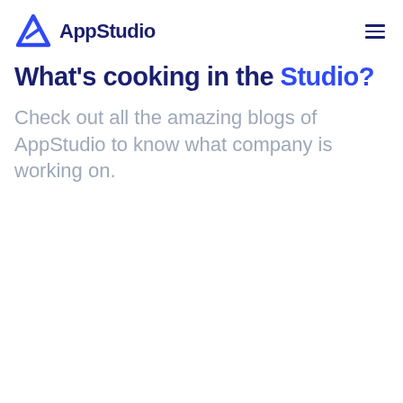AppStudio
What's cooking in the Studio?
Check out all the amazing blogs of AppStudio to know what company is working on.